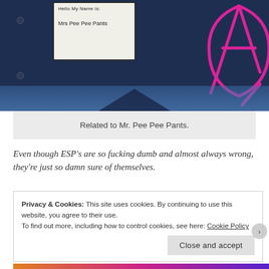[Figure (photo): Photo of a dark navy blue surface (possibly a door or wall) with a white 'Hello My Name Is' name tag sticker reading 'Mrs Pee Pee Pants', and pink graffiti/marker scrawl on the right side. A blue-tinted stripe is visible at the bottom.]
Related to Mr. Pee Pee Pants.
Even though ESP's are so fucking dumb and almost always wrong, they're just so damn sure of themselves.
Privacy & Cookies: This site uses cookies. By continuing to use this website, you agree to their use.
To find out more, including how to control cookies, see here: Cookie Policy
Close and accept